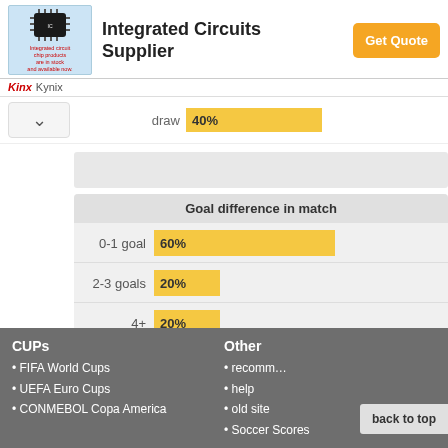[Figure (screenshot): Ad banner for Integrated Circuits Supplier by Kynix with chip image and Get Quote button]
draw 40%
[Figure (bar-chart): Goal difference in match]
FIFA World Cups
UEFA Euro Cups
CONMEBOL Copa America
recomm…
help
old site
Soccer Scores